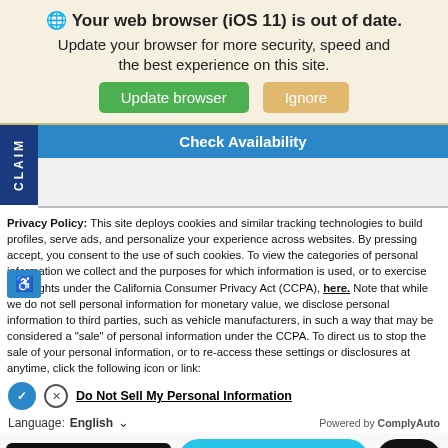[Figure (screenshot): Browser update warning banner with globe icon, bold title 'Your web browser (iOS 11) is out of date.', subtitle text, and two buttons: 'Update browser' (green) and 'Ignore' (tan/orange)]
[Figure (screenshot): Blue 'Check Availability' bar with blue sidebar showing 'CLAIM' text vertically, and a gray content area below]
Privacy Policy: This site deploys cookies and similar tracking technologies to build profiles, serve ads, and personalize your experience across websites. By pressing accept, you consent to the use of such cookies. To view the categories of personal information we collect and the purposes for which information is used, or to exercise your rights under the California Consumer Privacy Act (CCPA), here. Note that while we do not sell personal information for monetary value, we disclose personal information to third parties, such as vehicle manufacturers, in such a way that may be considered a "sale" of personal information under the CCPA. To direct us to stop the sale of your personal information, or to re-access these settings or disclosures at anytime, click the following icon or link:
Do Not Sell My Personal Information
Language: English
Powered by ComplyAuto
[Figure (screenshot): Bottom action bar with 'Accept and Continue →' black button, 'Chat With Us!' cyan rounded button, and 'Text' black rounded button]